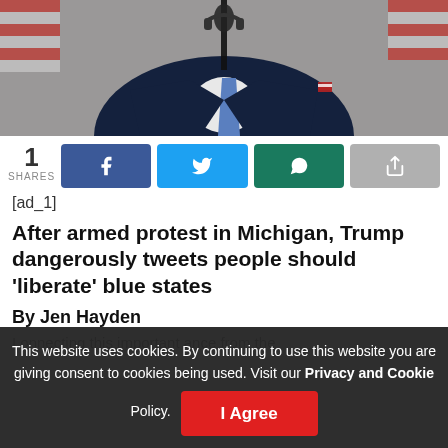[Figure (photo): Photo of a man in a dark suit with a blue tie standing at a microphone, with American flags blurred in the background. A small flag pin is visible on the lapel.]
1 SHARES
[ad_1]
After armed protest in Michigan, Trump dangerously tweets people should ‘liberate’ blue states
By Jen Hayden
This website uses cookies. By continuing to use this website you are giving consent to cookies being used. Visit our Privacy and Cookie Policy.
I Agree